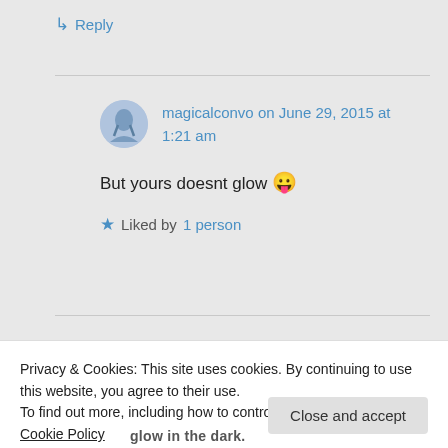↳ Reply
magicalconvo on June 29, 2015 at 1:21 am
But yours doesnt glow 😛
★ Liked by 1 person
Privacy & Cookies: This site uses cookies. By continuing to use this website, you agree to their use.
To find out more, including how to control cookies, see here: Cookie Policy
Close and accept
glow in the dark.